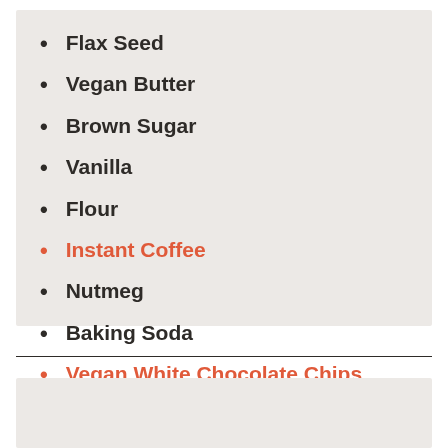Flax Seed
Vegan Butter
Brown Sugar
Vanilla
Flour
Instant Coffee
Nutmeg
Baking Soda
Vegan White Chocolate Chips